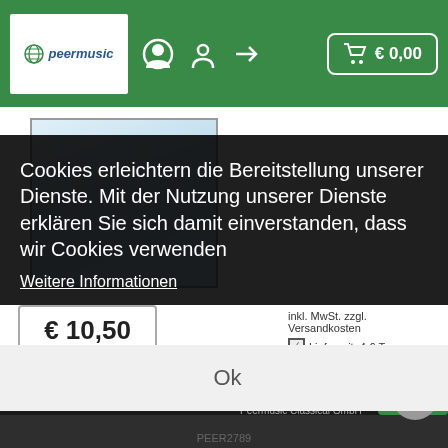peermusic  🔍  👤  ➡  🛒 € 0,00
[Figure (photo): Book cover image placeholder with light blue gradient background]
€ 10,50
inkl. MwSt. zzgl. Versandkosten
☑ Lieferzeit: 4-6 Tage
Cookies erleichtern die Bereitstellung unserer Dienste. Mit der Nutzung unserer Dienste erklären Sie sich damit einverstanden, dass wir Cookies verwenden
Weitere Informationen
Ok
An organized Method of String Playing
Double Bass Exercises for the Left Hand
Peermusic Classical GmbH
PEER2789